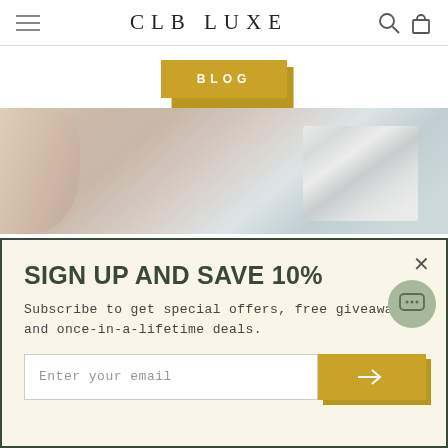CLB LUXE
BLOG
[Figure (photo): Close-up photo of luxury items including a marble-patterned object on a soft beige/blush background]
SIGN UP AND SAVE 10%
Subscribe to get special offers, free giveaways, and once-in-a-lifetime deals.
Enter your email